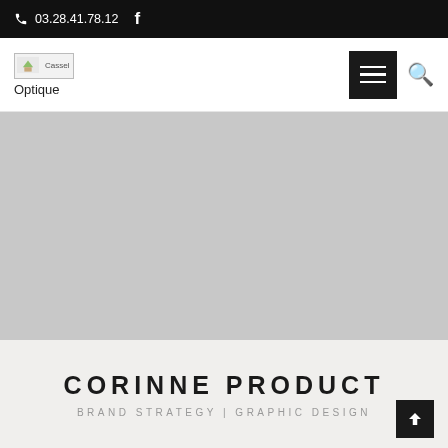03.28.41.78.12  f
[Figure (screenshot): Navigation bar with Cassel Optique logo, hamburger menu button, and search icon]
[Figure (photo): Large gray placeholder hero image]
CORINNE PRODUCT
BRAND STRATEGY | GRAPHIC DESIGN